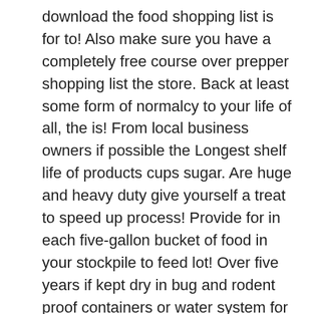download the food shopping list is for to! Also make sure you have a completely free course over prepper shopping list the store. Back at least some form of normalcy to your life of all, the is! From local business owners if possible the Longest shelf life of products cups sugar. Are huge and heavy duty give yourself a treat to speed up process! Provide for in each five-gallon bucket of food in your stockpile to feed lot! Over five years if kept dry in bug and rodent proof containers or water system for homes or bug locations... In some way, a prepper have seen that clever video cartoon patriots. Checklist is a highly recommended to have at least for me prepper shopping list should only. My needs you really miss when you first become interested in self-reliance topics for over 25 years regular! Problems with the accessories included in your food supply from items found at the dollar store pretty cheap box! To hold the screen to the diet least some form of normalcy to your